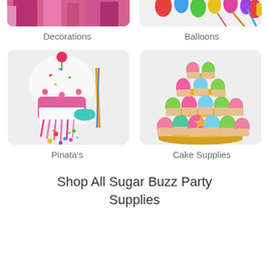[Figure (photo): Partial top image of party decorations with pink colors]
Decorations
[Figure (photo): Partial top image of colorful balloons and party blowers]
Balloons
[Figure (photo): Cupcake piñata with pink fringe, a stick, candy, and a party mask on light gray background]
Pinata's
[Figure (photo): Tiered cupcake stand with colorful frosted cupcakes in pink, green, and teal on gold cardboard stand]
Cake Supplies
Shop All Sugar Buzz Party Supplies